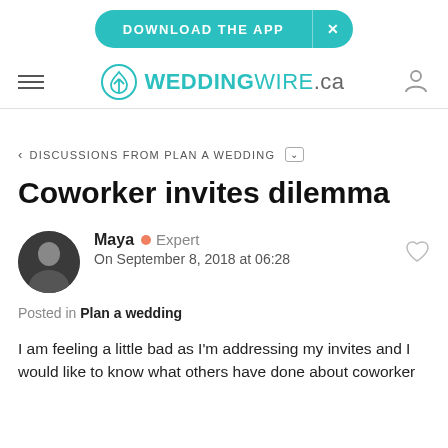DOWNLOAD THE APP  ×
WEDDINGWIRE.ca
< DISCUSSIONS FROM PLAN A WEDDING
Coworker invites dilemma
Maya  •  Expert
On September 8, 2018 at 06:28
Posted in Plan a wedding
I am feeling a little bad as I'm addressing my invites and I would like to know what others have done about coworker...